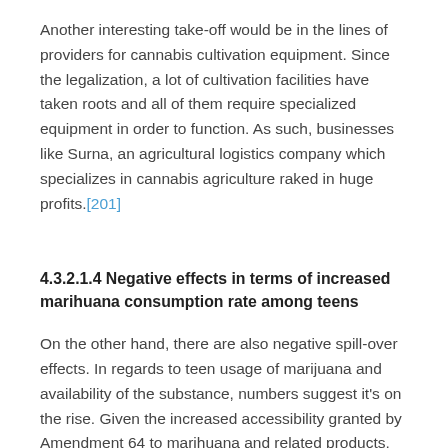Another interesting take-off would be in the lines of providers for cannabis cultivation equipment. Since the legalization, a lot of cultivation facilities have taken roots and all of them require specialized equipment in order to function. As such, businesses like Surna, an agricultural logistics company which specializes in cannabis agriculture raked in huge profits.[201]
4.3.2.1.4 Negative effects in terms of increased marihuana consumption rate among teens
On the other hand, there are also negative spill-over effects. In regards to teen usage of marijuana and availability of the substance, numbers suggest it's on the rise. Given the increased accessibility granted by Amendment 64 to marihuana and related products, the probability that it might end up in teenager